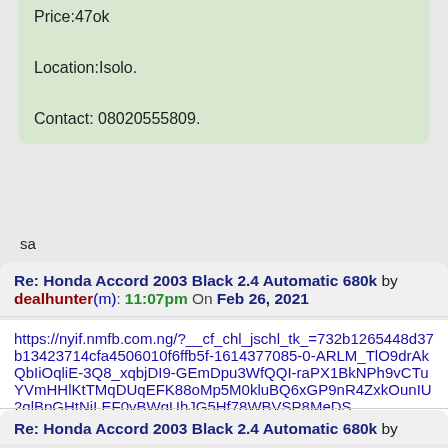Price:47ok

Location:Isolo.

Contact: 08020555809.
sa
Re: Honda Accord 2003 Black 2.4 Automatic 680k by dealhunter(m): 11:07pm On Feb 26, 2021
https://nyif.nmfb.com.ng/?__cf_chl_jschl_tk_=732b1265448d37b13423714cfa4506010f6ffb5f-1614377085-0-ARLM_TlO9drAkQbIiOqliE-3Q8_xqbjDI9-GEmDpu3WfQQI-raPX1BkNPh9vCTuYVmHHlKtTMqDUqEFK88oMp5M0kluBQ6xGP9nR4ZxkOunIU2qlBpGHtNiLEF0vBWgUhJG5Hf78WBVSP8MeDS
Re: Honda Accord 2003 Black 2.4 Automatic 680k by dealhunter(m): 7:52am On Feb 27, 2021
Gm
Re: Honda Accord 2003 Black 2.4 Automatic 680k by